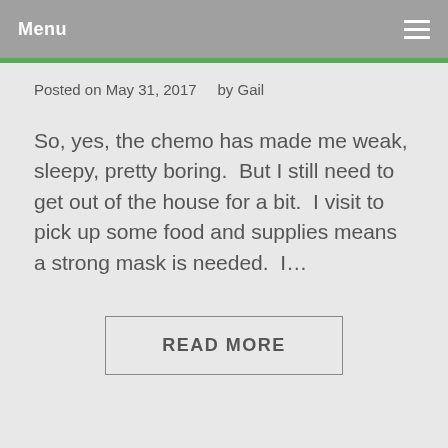Menu
Posted on May 31, 2017    by Gail
So, yes, the chemo has made me weak, sleepy, pretty boring.  But I still need to get out of the house for a bit.  I visit to pick up some food and supplies means a strong mask is needed.  I...
READ MORE